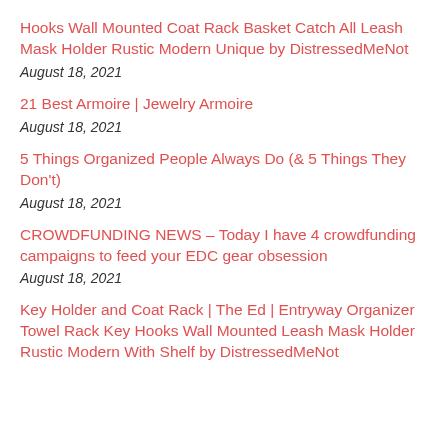Hooks Wall Mounted Coat Rack Basket Catch All Leash Mask Holder Rustic Modern Unique by DistressedMeNot
August 18, 2021
21 Best Armoire | Jewelry Armoire
August 18, 2021
5 Things Organized People Always Do (& 5 Things They Don't)
August 18, 2021
CROWDFUNDING NEWS – Today I have 4 crowdfunding campaigns to feed your EDC gear obsession
August 18, 2021
Key Holder and Coat Rack | The Ed | Entryway Organizer Towel Rack Key Hooks Wall Mounted Leash Mask Holder Rustic Modern With Shelf by DistressedMeNot